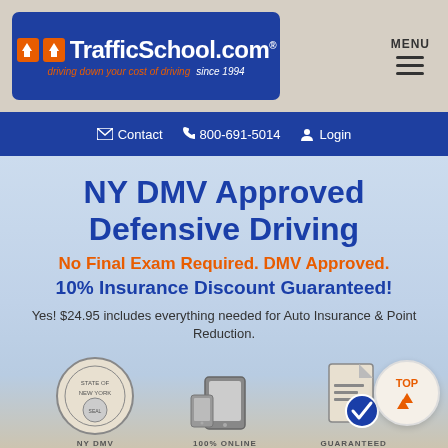[Figure (logo): TrafficSchool.com logo with blue background, orange arrow icons, white text, tagline 'driving down your cost of driving since 1994']
MENU
✉ Contact  ☎ 800-691-5014  👤 Login
NY DMV Approved Defensive Driving
No Final Exam Required. DMV Approved.
10% Insurance Discount Guaranteed!
Yes! $24.95 includes everything needed for Auto Insurance & Point Reduction.
[Figure (illustration): NY DMV seal/stamp icon]
[Figure (illustration): 100% Online - tablet/device icon]
[Figure (illustration): Guaranteed certificate/document icon]